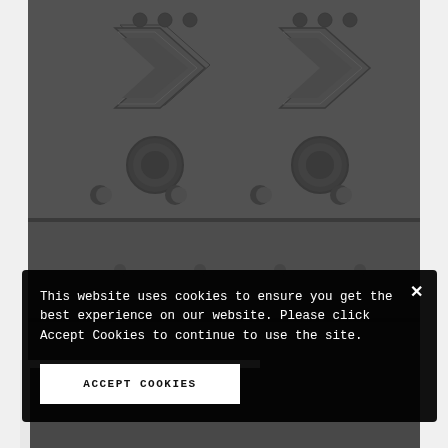[Figure (photo): Close-up photograph of dark gray industrial/mechanical component panels with circular indentations, holes and chevron/arrow-shaped embossed features arranged in a grid pattern on a dark background.]
This website uses cookies to ensure you get the best experience on our website. Please click Accept Cookies to continue to use the site.
ACCEPT COOKIES